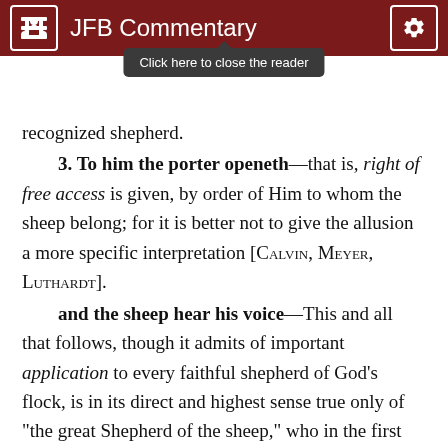JFB Commentary
[Figure (screenshot): Tooltip overlay saying 'Click here to close the reader']
recognized shepherd.
3. To him the porter openeth—that is, right of free access is given, by order of Him to whom the sheep belong; for it is better not to give the allusion a more specific interpretation [Calvin, Meyer, Luthardt].
and the sheep hear his voice—This and all that follows, though it admits of important application to every faithful shepherd of God's flock, is in its direct and highest sense true only of "the great Shepherd of the sheep," who in the first five verses seems plainly, under the simple